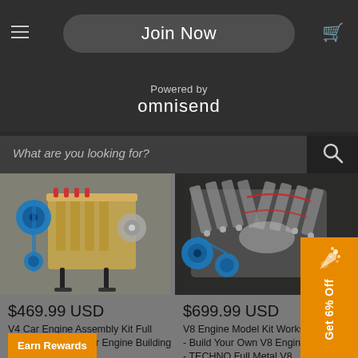Join Now
Powered by
omnisend
What are you looking for?
[Figure (photo): V4 car engine model kit with blue pulleys and gold/tan frame, displayed on black stand]
$469.99 USD
V4 Car Engine Assembly Kit Full Metal 4 Cylinder Car Engine Building Kit
104 reviews
[Figure (photo): V8 engine model kit with blue and silver components, complex assembly with red wires/cables, dark background]
$699.99 USD
V8 Engine Model Kit Works - Build Your Own V8 Engine - TECHNO Full Metal V8 Car Engine Model Kit 500+Pcs
39 reviews
Earn Rewards
Get 6% Off